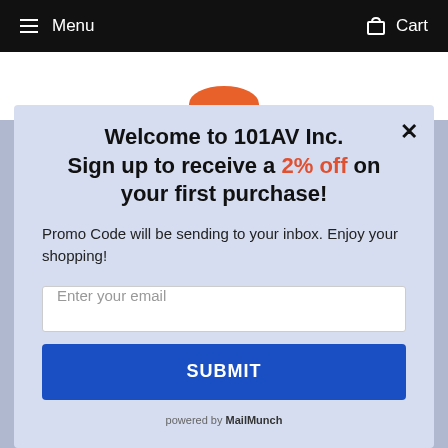Menu   Cart
Welcome to 101AV Inc. Sign up to receive a 2% off on your first purchase!
Promo Code will be sending to your inbox. Enjoy your shopping!
Enter your email
SUBMIT
powered by MailMunch